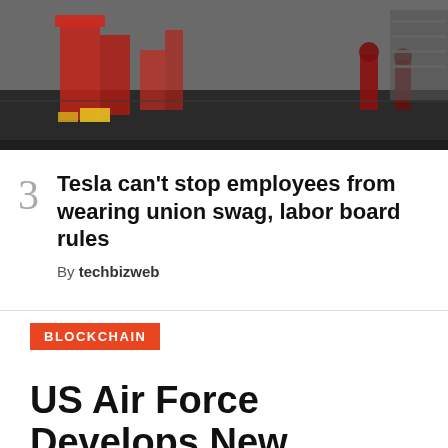[Figure (photo): Factory floor with red robotic equipment and workers in a Tesla manufacturing facility]
3  Tesla can't stop employees from wearing union swag, labor board rules
By techbizweb
BLOCKCHAIN
US Air Force Develops New Blockchain Tool
December 5, 2018 — Updated: January 14, 2019